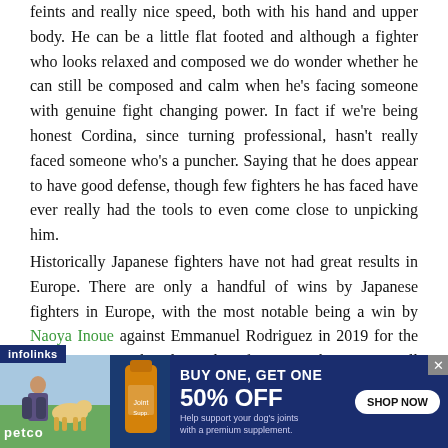feints and really nice speed, both with his hand and upper body. He can be a little flat footed and although a fighter who looks relaxed and composed we do wonder whether he can still be composed and calm when he's facing someone with genuine fight changing power. In fact if we're being honest Cordina, since turning professional, hasn't really faced someone who's a puncher. Saying that he does appear to have good defense, though few fighters he has faced have ever really had the tools to even come close to unpicking him.
Historically Japanese fighters have not had great results in Europe. There are only a handful of wins by Japanese fighters in Europe, with the most notable being a win by Naoya Inoue against Emmanuel Rodriguez in 2019 for the IBF Bantamweight title. And it's fair to say that Ogawa will be the under-dog here. Despite that Ogawa has shown his ability on
[Figure (other): Petco advertisement banner: BUY ONE, GET ONE 50% OFF on dog joint supplements. Shows a woman with a Labrador dog, Petco logo, and SHOP NOW button.]